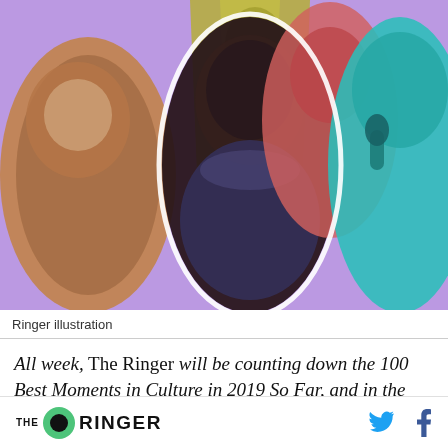[Figure (illustration): Colorful collage illustration on purple background featuring several figures: an astronaut in orange/tan duotone on the left, a man in a yellow-green suit, a young Black child in the center foreground, a red/coral figure on the right background, and a teal/cyan figure of a woman singing into a microphone on the far right.]
Ringer illustration
All week, The Ringer will be counting down the 100 Best Moments in Culture in 2019 So Far, and in the process, diving even deeper to shine a light on the best of movies, music, and TV. Today, Miles Surrey
[Figure (logo): The Ringer logo: THE in small caps, a green circle, and RINGER in bold black uppercase letters. Social icons for Twitter (blue bird) and Facebook (blue f) on the right.]